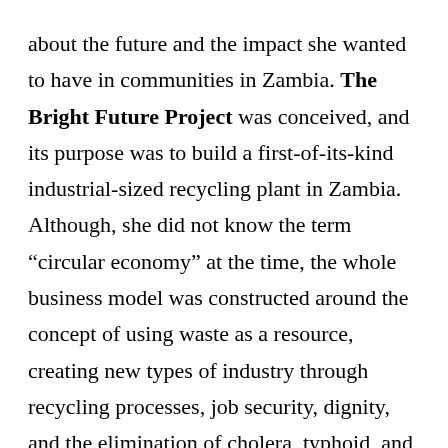about the future and the impact she wanted to have in communities in Zambia. The Bright Future Project was conceived, and its purpose was to build a first-of-its-kind industrial-sized recycling plant in Zambia. Although, she did not know the term “circular economy” at the time, the whole business model was constructed around the concept of using waste as a resource, creating new types of industry through recycling processes, job security, dignity, and the elimination of cholera, typhoid, and other illnesses related to bad waste disposal practices. Together, with her mentor, Uzoma Nnganyadi and Tobias Muyaba, they have been working toward the vision. It has not been easy, and the challenges are many, but...